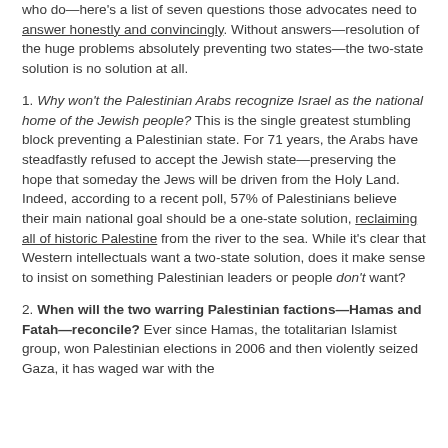who do—here's a list of seven questions those advocates need to answer honestly and convincingly. Without answers—resolution of the huge problems absolutely preventing two states—the two-state solution is no solution at all.
1. Why won't the Palestinian Arabs recognize Israel as the national home of the Jewish people? This is the single greatest stumbling block preventing a Palestinian state. For 71 years, the Arabs have steadfastly refused to accept the Jewish state—preserving the hope that someday the Jews will be driven from the Holy Land. Indeed, according to a recent poll, 57% of Palestinians believe their main national goal should be a one-state solution, reclaiming all of historic Palestine from the river to the sea. While it's clear that Western intellectuals want a two-state solution, does it make sense to insist on something Palestinian leaders or people don't want?
2. When will the two warring Palestinian factions—Hamas and Fatah—reconcile? Ever since Hamas, the totalitarian Islamist group, won Palestinian elections in 2006 and then violently seized Gaza, it has waged war with the